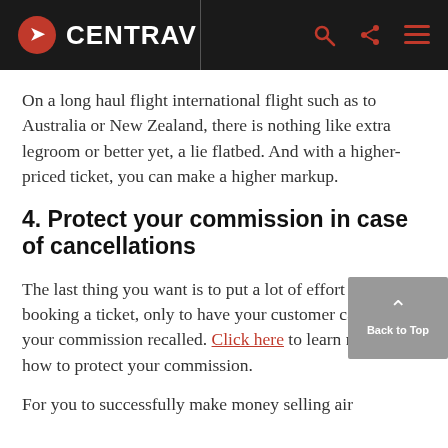CENTRAV
On a long haul flight international flight such as to Australia or New Zealand, there is nothing like extra legroom or better yet, a lie flatbed. And with a higher-priced ticket, you can make a higher markup.
4. Protect your commission in case of cancellations
The last thing you want is to put a lot of effort into booking a ticket, only to have your customer cancel and your commission recalled. Click here to learn more about how to protect your commission.
For you to successfully make money selling air